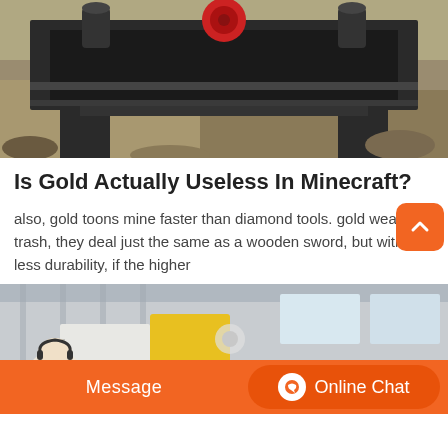[Figure (photo): Industrial crusher/mining machine on a rocky outdoor site with sandy terrain in the background. The machine is black metal with red mechanical parts at the top.]
Is Gold Actually Useless In Minecraft?
also, gold toons mine faster than diamond tools. gold weapons trash, they deal just the same as a wooden sword, but with less durability, if the higher
[Figure (photo): Industrial factory or warehouse interior showing large yellow and white industrial machinery/equipment with a high ceiling and skylights.]
Message
Online Chat